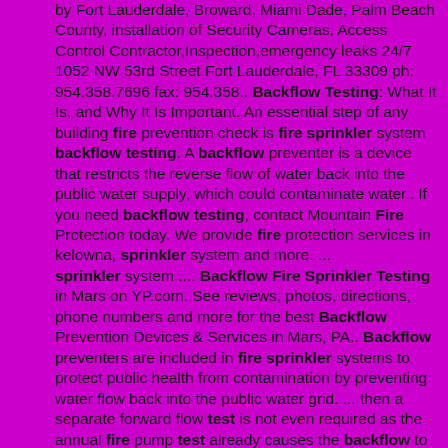by Fort Lauderdale, Broward, Miami Dade, Palm Beach County, installation of Security Cameras, Access Control Contractor,Inspection,emergency leaks 24/7 1052 NW 53rd Street Fort Lauderdale, FL 33309 ph: 954.358.7696 fax: 954.358.. Backflow Testing: What It Is, and Why It Is Important. An essential step of any building fire prevention check is fire sprinkler system backflow testing. A backflow preventer is a device that restricts the reverse flow of water back into the public water supply, which could contaminate water.. If you need backflow testing, contact Mountain Fire Protection today. We provide fire protection services in kelowna, sprinkler system and more. ... sprinkler system .... Backflow Fire Sprinkler Testing in Mars on YP.com. See reviews, photos, directions, phone numbers and more for the best Backflow Prevention Devices & Services in Mars, PA.. Backflow preventers are included in fire sprinkler systems to protect public health from contamination by preventing water flow back into the public water grid. ... then a separate forward flow test is not even required as the annual fire pump test already causes the backflow to be tested (NFPA 25 2002 Section 12.6.2.1.4, 2008-2011 Section 13.6. Fire and Safety Equipment Company offers Certified Backflow Testing on all types of assemblies including fire line, domestic, and irrigation. Backflow is the undesirable reversal of the flow of water